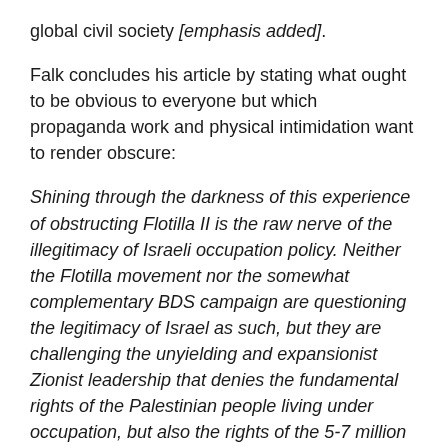global civil society [emphasis added].
Falk concludes his article by stating what ought to be obvious to everyone but which propaganda work and physical intimidation want to render obscure:
Shining through the darkness of this experience of obstructing Flotilla II is the raw nerve of the illegitimacy of Israeli occupation policy. Neither the Flotilla movement nor the somewhat complementary BDS campaign are questioning the legitimacy of Israel as such, but they are challenging the unyielding and expansionist Zionist leadership that denies the fundamental rights of the Palestinian people living under occupation, but also the rights of the 5-7 million Palestinians living in refugee camps or in exile and the rights of the 1.5 million Palestinians that have been subject to a range of